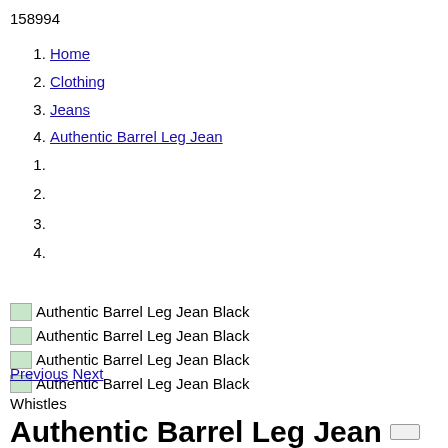158994
1. Home
2. Clothing
3. Jeans
4. Authentic Barrel Leg Jean
1.
2.
3.
4.
[Figure (photo): Authentic Barrel Leg Jean Black thumbnail image 1]
[Figure (photo): Authentic Barrel Leg Jean Black thumbnail image 2]
[Figure (photo): Authentic Barrel Leg Jean Black thumbnail image 3]
[Figure (photo): Authentic Barrel Leg Jean Black thumbnail image 4]
Previous Next
Whistles
Authentic Barrel Leg Jean
$189.00
(11)